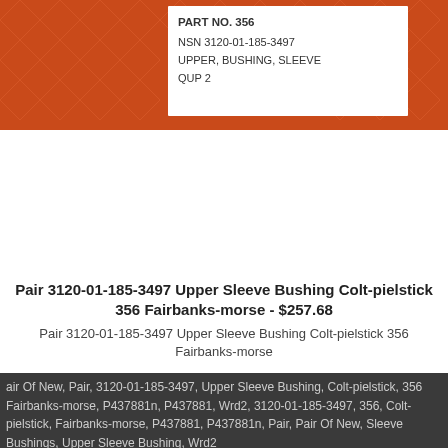[Figure (photo): Photo of orange mesh netting packaging containing Upper Sleeve Bushings, with a white label showing Part No. 356, NSN 3120-01-185-3497, UPPER, BUSHING, SLEEVE, QUP 2]
Pair 3120-01-185-3497 Upper Sleeve Bushing Colt-pielstick 356 Fairbanks-morse - $257.68
Pair 3120-01-185-3497 Upper Sleeve Bushing Colt-pielstick 356 Fairbanks-morse
air Of New, Pair, 3120-01-185-3497, Upper Sleeve Bushing, Colt-pielstick, 356 Fairbanks-morse, P437881n, P437881, Wrd2, 3120-01-185-3497, 356, Colt-pielstick, Fairbanks-morse, P437881, P437881n, Pair, Pair Of New, Sleeve Bushings, Upper Sleeve Bushing, Wrd2